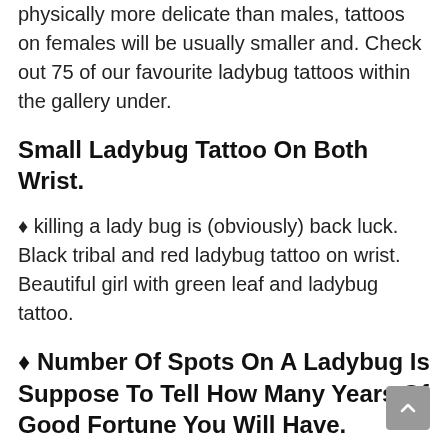physically more delicate than males, tattoos on females will be usually smaller and. Check out 75 of our favourite ladybug tattoos within the gallery under.
Small Ladybug Tattoo On Both Wrist.
♦ killing a lady bug is (obviously) back luck. Black tribal and red ladybug tattoo on wrist. Beautiful girl with green leaf and ladybug tattoo.
♦ Number Of Spots On A Ladybug Is Suppose To Tell How Many Years Of Good Fortune You Will Have.
The ladybug tattoo in the image is a very beautiful motif that looks a. #11 small 3d ladybug tattoo on wrist. The combination of the red ladybug tattoo design and the heart